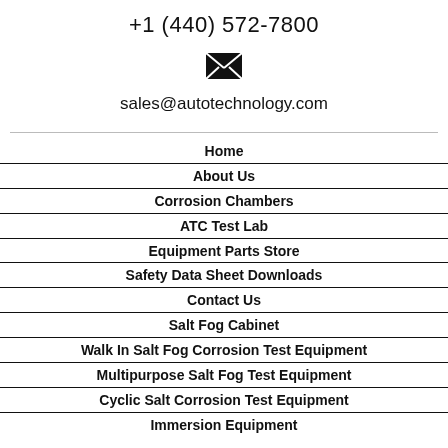+1 (440) 572-7800
[Figure (illustration): Email envelope icon (solid black)]
sales@autotechnology.com
Home
About Us
Corrosion Chambers
ATC Test Lab
Equipment Parts Store
Safety Data Sheet Downloads
Contact Us
Salt Fog Cabinet
Walk In Salt Fog Corrosion Test Equipment
Multipurpose Salt Fog Test Equipment
Cyclic Salt Corrosion Test Equipment
Immersion Equipment